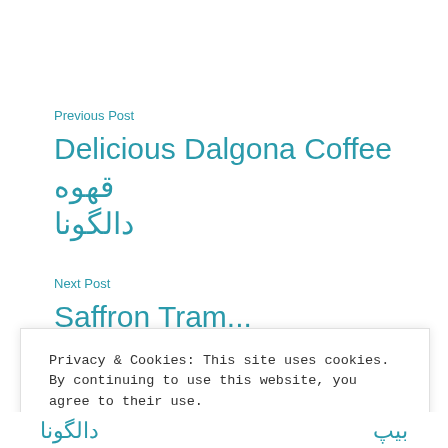Previous Post
Delicious Dalgona Coffee قهوه دالگونا
Next Post
Saffron Tram...
Privacy & Cookies: This site uses cookies. By continuing to use this website, you agree to their use.
To find out more, including how to control cookies, see here: Cookie Policy
Close and accept
دالگونا